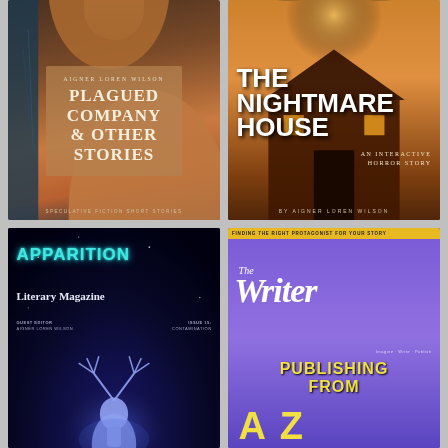[Figure (photo): Book cover: 'Plagued Company & Other Stories' by Aigner Loren Wilson. Dark teal and warm brown tones with a hand/finger. Title in serif font on a semi-transparent tan overlay. Subtitle: Speculative Fiction Short Stories.]
[Figure (photo): Book cover: 'The Nightmare House: An Interactive Horror Story' by Aigner Loren Wilson. Close-up of eyes at top, golden/amber haunted house below, birds in sky. Bold white Impact-style title.]
[Figure (photo): Magazine cover: Apparition Literary Magazine. Guest Editor: Aigner Loren Wilson. Issue 15: Contamination. Dark blue/black background with glowing cyan title and a glowing blue deer/antelope silhouette.]
[Figure (photo): Magazine cover: The Writer magazine. Banner text: Finding the Right Protagonist For Your Story. Large italic 'The Writer' masthead in white on purple. Yellow text: Publishing From A to Z.]